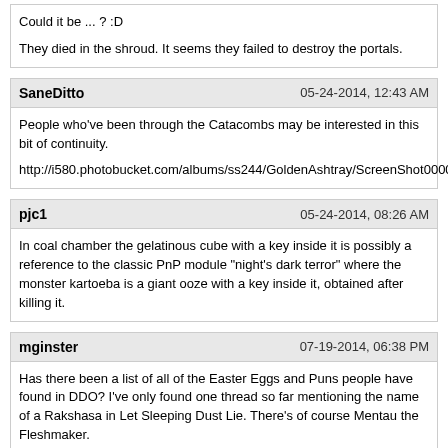Could it be ... ? :D

They died in the shroud. It seems they failed to destroy the portals.
SaneDitto | 05-24-2014, 12:43 AM
People who've been through the Catacombs may be interested in this bit of continuity.

http://i580.photobucket.com/albums/ss244/GoldenAshtray/ScreenShot00000_zps5b63
pjc1 | 05-24-2014, 08:26 AM
In coal chamber the gelatinous cube with a key inside it is possibly a reference to the classic PnP module "night's dark terror" where the monster kartoeba is a giant ooze with a key inside it, obtained after killing it.
mginster | 07-19-2014, 06:38 PM
Has there been a list of all of the Easter Eggs and Puns people have found in DDO? I've only found one thread so far mentioning the name of a Rakshasa in Let Sleeping Dust Lie. There's of course Mentau the Fleshmaker.

The reason I ask is that I just discovered one today that was new to me: Xy'zzy, the boss in Hound of Xoriat is also the password used in what is likely the original computer game Adventure. XYZZY was entered at the beginning of the game to transport the player into the caves bypassing much of the initial stages of the game.

If there's already a thread, I'd be happy to drop this there, otherwise maybe we should make a comprehensive list as they are discovered.

How about monk elemental attack: Earth, Air (Wind) & Fire - Shining Star